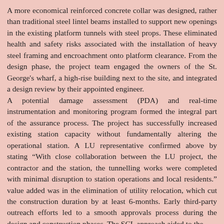A more economical reinforced concrete collar was designed, rather than traditional steel lintel beams installed to support new openings in the existing platform tunnels with steel props. These eliminated health and safety risks associated with the installation of heavy steel framing and encroachment onto platform clearance. From the design phase, the project team engaged the owners of the St. George's wharf, a high-rise building next to the site, and integrated a design review by their appointed engineer. A potential damage assessment (PDA) and real-time instrumentation and monitoring program formed the integral part of the assurance process. The project has successfully increased existing station capacity without fundamentally altering the operational station. A LU representative confirmed above by stating “With close collaboration between the LU project, the contractor and the station, the tunnelling works were completed with minimal disruption to station operations and local residents.” value added was in the elimination of utility relocation, which cut the construction duration by at least 6-months. Early third-party outreach efforts led to a smooth approvals process during the design and construction phases. The SCL approach aided to the